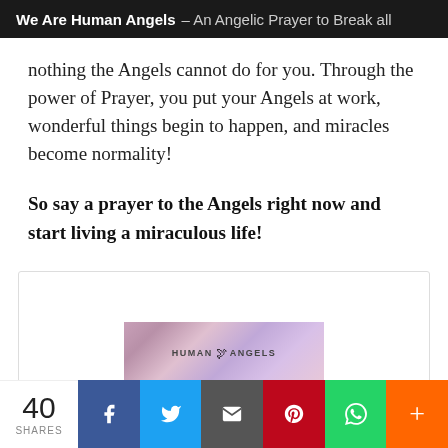We Are Human Angels – An Angelic Prayer to Break all
nothing the Angels cannot do for you. Through the power of Prayer, you put your Angels at work, wonderful things begin to happen, and miracles become normality!
So say a prayer to the Angels right now and start living a miraculous life!
[Figure (illustration): Human Angels branded image with bokeh/sparkle background]
40 SHARES | Facebook | Twitter | Email | Pinterest | WhatsApp | More